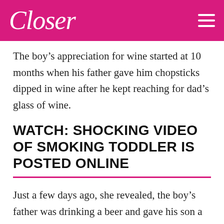Closer
The boy's appreciation for wine started at 10 months when his father gave him chopsticks dipped in wine after he kept reaching for dad's glass of wine.
WATCH: SHOCKING VIDEO OF SMOKING TODDLER IS POSTED ONLINE
Just a few days ago, she revealed, the boy's father was drinking a beer and gave his son a sip. But the little boy downed the entire bottle.
Pediatricians in mainland China said that the body